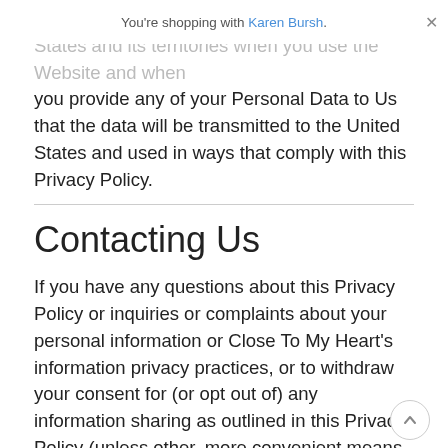You're shopping with Karen Bursh.
Please know that if you are outside the United States and its territories when you use the Website and when you provide any of your Personal Data to Us that the data will be transmitted to the United States and used in ways that comply with this Privacy Policy.
Contacting Us
If you have any questions about this Privacy Policy or inquiries or complaints about your personal information or Close To My Heart's information privacy practices, or to withdraw your consent for (or opt out of) any information sharing as outlined in this Privacy Policy (unless other, more convenient means are provided), here is how to contact Us:
By email: ctmhoffice@closetomyheart.com
Note: Please include the word “privacy” in the subject line. In the body of the email, please